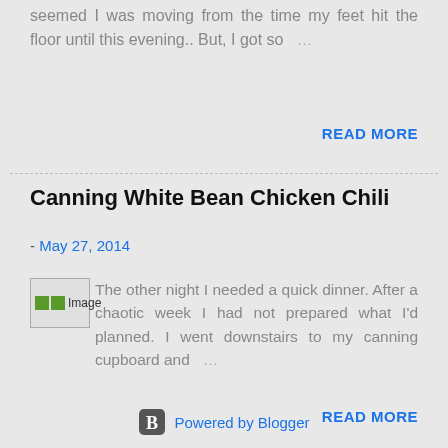Today was one of those busy days that it seemed I was moving from the time my feet hit the floor until this evening.. But, I got so …
READ MORE
Canning White Bean Chicken Chili
- May 27, 2014
The other night I needed a quick dinner. After a chaotic week I had not prepared what I'd planned. I went downstairs to my canning cupboard and …
READ MORE
Powered by Blogger